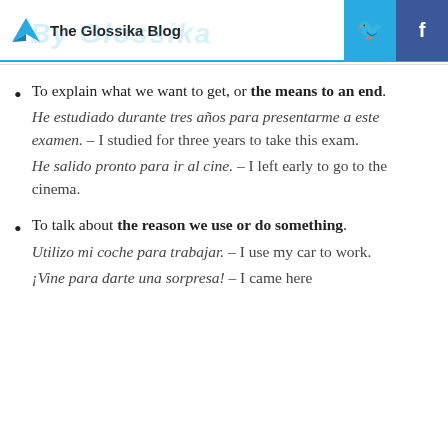The Glossika Blog
To explain what we want to get, or the means to an end. He estudiado durante tres años para presentarme a este examen. – I studied for three years to take this exam. He salido pronto para ir al cine. – I left early to go to the cinema.
To talk about the reason we use or do something. Utilizo mi coche para trabajar. – I use my car to work. ¡Vine para darte una sorpresa! – I came here